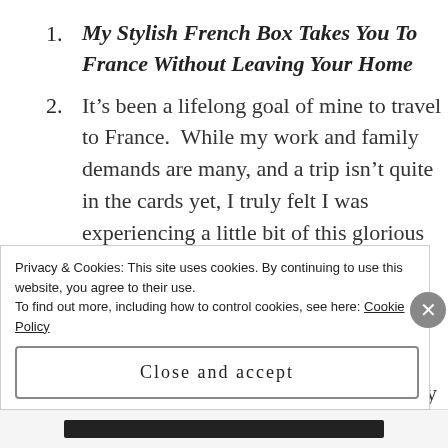My Stylish French Box Takes You To France Without Leaving Your Home
It’s been a lifelong goal of mine to travel to France.  While my work and family demands are many, and a trip isn’t quite in the cards yet, I truly felt I was experiencing a little bit of this glorious country as I inspected every item in the box.  I’m a big believer in engaging all the senses to truly experience life, and short of listening to Edith Piaf (I did enjoy a glass of wine while perusing my box), I was
Privacy & Cookies: This site uses cookies. By continuing to use this website, you agree to their use.
To find out more, including how to control cookies, see here: Cookie Policy
Close and accept